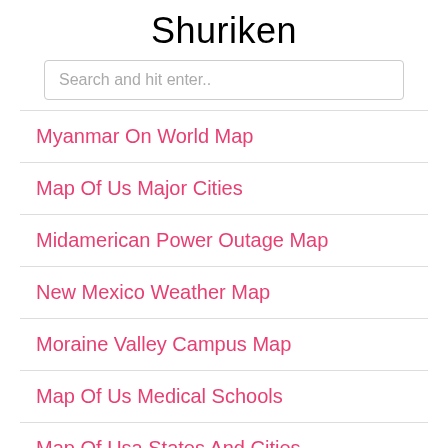Shuriken
Search and hit enter..
Myanmar On World Map
Map Of Us Major Cities
Midamerican Power Outage Map
New Mexico Weather Map
Moraine Valley Campus Map
Map Of Us Medical Schools
Map Of Usa States And Cities
Map Of Usa With Rivers And States
Middle East Map Isreal
Mdc Hialeah Campus Map